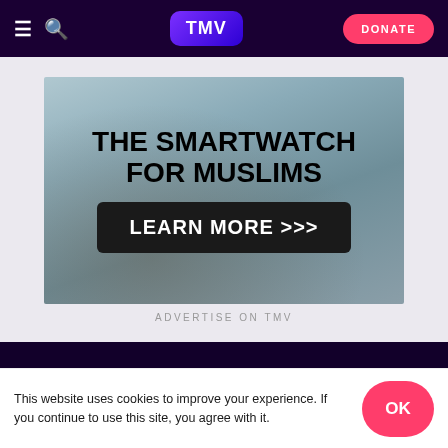TMV navigation bar with hamburger menu, search icon, TMV logo, and DONATE button
[Figure (photo): Advertisement image showing a smartwatch on a wrist with dark overlay text reading THE SMARTWATCH FOR MUSLIMS and a LEARN MORE >>> button]
ADVERTISE ON TMV
LATEST VIDEOS
This website uses cookies to improve your experience. If you continue to use this site, you agree with it.